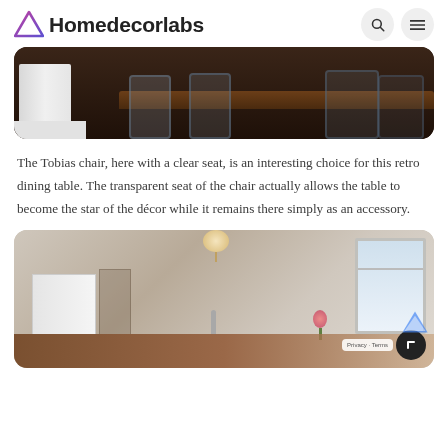Homedecorlabs
[Figure (photo): Photo of a retro dining table with transparent Tobias chairs with clear seats on a dark hardwood floor, white cabinet on the left]
The Tobias chair, here with a clear seat, is an interesting choice for this retro dining table. The transparent seat of the chair actually allows the table to become the star of the décor while it remains there simply as an accessory.
[Figure (photo): Photo of a bright kitchen interior with white cabinets, a chandelier, dark wood island countertop, a sink with faucet, flowers, and a window letting in natural light]